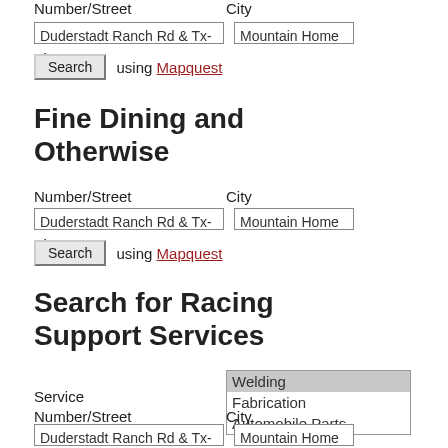Number/Street   City
Duderstadt Ranch Rd & Tx-4   Mountain Home
Search using Mapquest
Fine Dining and Otherwise
Number/Street   City
Duderstadt Ranch Rd & Tx-4   Mountain Home
Search using Mapquest
Search for Racing Support Services
Service   [dropdown: Welding, Fabrication, Automobile Parts]
Number/Street   City
Duderstadt Ranch Rd & Tx-4   Mountain Home